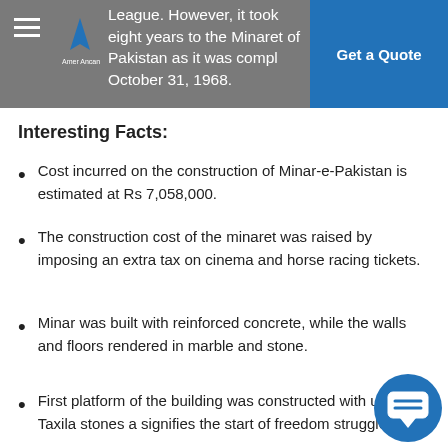League. However, it took eight years to the Minaret of Pakistan as it was completed October 31, 1968.
Interesting Facts:
Cost incurred on the construction of Minar-e-Pakistan is estimated at Rs 7,058,000.
The construction cost of the minaret was raised by imposing an extra tax on cinema and horse racing tickets.
Minar was built with reinforced concrete, while the walls and floors rendered in marble and stone.
First platform of the building was constructed with uncut Taxila stones and signifies the start of freedom struggle.